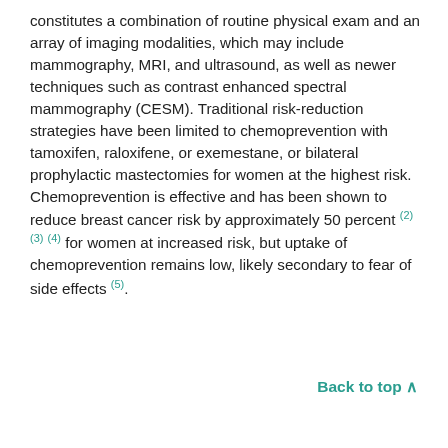constitutes a combination of routine physical exam and an array of imaging modalities, which may include mammography, MRI, and ultrasound, as well as newer techniques such as contrast enhanced spectral mammography (CESM). Traditional risk-reduction strategies have been limited to chemoprevention with tamoxifen, raloxifene, or exemestane, or bilateral prophylactic mastectomies for women at the highest risk. Chemoprevention is effective and has been shown to reduce breast cancer risk by approximately 50 percent (2) (3) (4) for women at increased risk, but uptake of chemoprevention remains low, likely secondary to fear of side effects (5).
Back to top ^